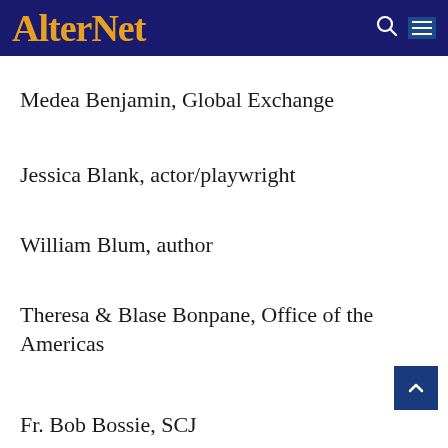AlterNet
Medea Benjamin, Global Exchange
Jessica Blank, actor/playwright
William Blum, author
Theresa & Blase Bonpane, Office of the Americas
Fr. Bob Bossie, SCJ